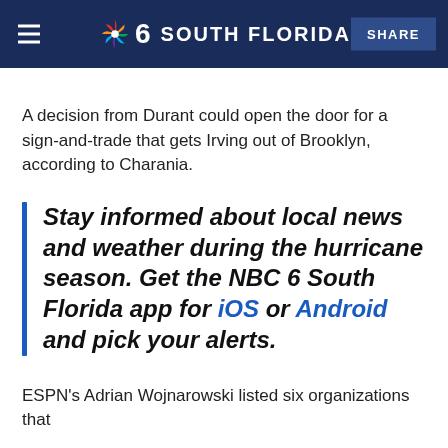NBC 6 South Florida | SHARE
A decision from Durant could open the door for a sign-and-trade that gets Irving out of Brooklyn, according to Charania.
Stay informed about local news and weather during the hurricane season. Get the NBC 6 South Florida app for iOS or Android and pick your alerts.
ESPN's Adrian Wojnarowski listed six organizations that